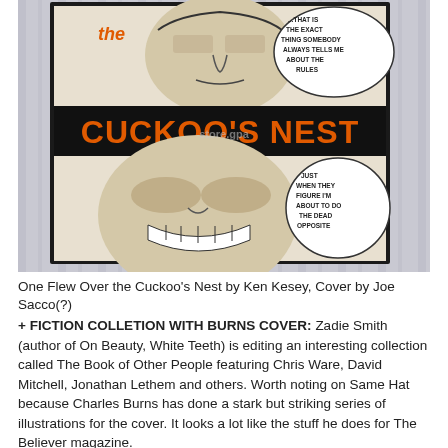[Figure (photo): Photograph of a comic book cover for 'One Flew Over the Cuckoo's Nest'. The cover features black-and-white comic art with orange lettering reading 'the CUCKOO'S NEST'. Upper panel shows a man's head with speech bubble: '...THAT IS THE EXACT THING SOMEBODY ALWAYS TELLS ME ABOUT THE RULES'. Lower panel shows a close-up grinning face with speech bubble: 'JUST WHEN THEY FIGURE I'M ABOUT TO DO THE DEAD OPPOSITE'. A watermark reading 'store.gpa' is visible.]
One Flew Over the Cuckoo's Nest by Ken Kesey, Cover by Joe Sacco(?)
+ FICTION COLLETION WITH BURNS COVER: Zadie Smith (author of On Beauty, White Teeth) is editing an interesting collection called The Book of Other People featuring Chris Ware, David Mitchell, Jonathan Lethem and others. Worth noting on Same Hat because Charles Burns has done a stark but striking series of illustrations for the cover. It looks a lot like the stuff he does for The Believer magazine.